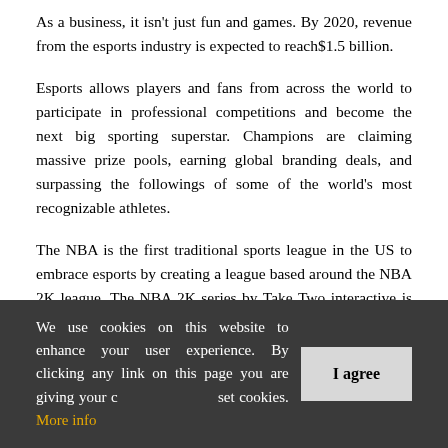As a business, it isn't just fun and games. By 2020, revenue from the esports industry is expected to reach$1.5 billion.
Esports allows players and fans from across the world to participate in professional competitions and become the next big sporting superstar. Champions are claiming massive prize pools, earning global branding deals, and surpassing the followings of some of the world's most recognizable athletes.
The NBA is the first traditional sports league in the US to embrace esports by creating a league based around the NBA 2K league. The NBA 2K series by Take Two interactive is wildly successful with over 68 million copies sold worldwide. The most recent installment, NBA 2K18 was the highest-selling sports game of 2017 in the US, and the second highest selling game overall behind Call of Duty. During this year's inaugural season, 17 NBA franchises have developed gaming teams, drafting 102 players from a pool of over 70,000 gamers who attempted
We use cookies on this website to enhance your user experience. By clicking any link on this page you are giving your consent for us to set cookies. More info